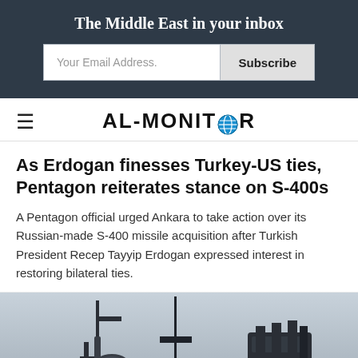The Middle East in your inbox
As Erdogan finesses Turkey-US ties, Pentagon reiterates stance on S-400s
A Pentagon official urged Ankara to take action over its Russian-made S-400 missile acquisition after Turkish President Recep Tayyip Erdogan expressed interest in restoring bilateral ties.
[Figure (photo): Silhouette of military missile defense equipment (S-400 system components) against a pale sky background]